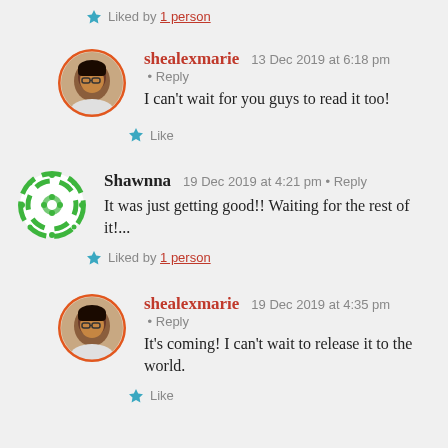★ Liked by 1 person
shealexmarie  13 Dec 2019 at 6:18 pm · Reply
I can't wait for you guys to read it too!
★ Like
Shawnna  19 Dec 2019 at 4:21 pm · Reply
It was just getting good!! Waiting for the rest of it!...
★ Liked by 1 person
shealexmarie  19 Dec 2019 at 4:35 pm · Reply
It's coming! I can't wait to release it to the world.
★ Like